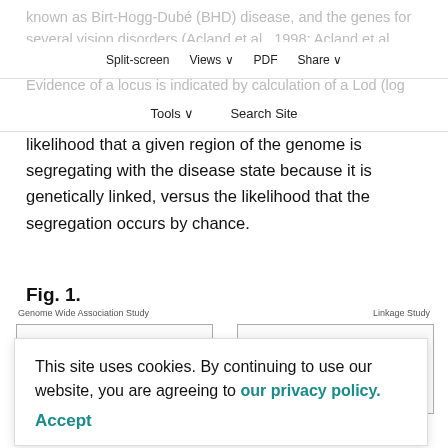known as Birt-Hogg-Dubé (BHD) disease, and the genes for several vision disorders (Acland et al., 1998; Acland et al., 1999; Jónasdóttir et al., 2000; Lowe et al., 2003). Evidence of a locus is indicated by calculation of a Lod (log of the odds) score (Ott, 1976), which indicates the likelihood that a given region of the genome is segregating with the disease state because it is genetically linked, versus the likelihood that the segregation occurs by chance.
Split-screen  Views  PDF  Share  Tools  Search Site
Fig. 1.
[Figure (schematic): Two boxes side by side: 'Genome Wide Association Study' (left) and 'Linkage Study' (right), each containing faded dog silhouettes, part of a figure illustrating genetic study designs.]
This site uses cookies. By continuing to use our website, you are agreeing to our privacy policy.
Accept